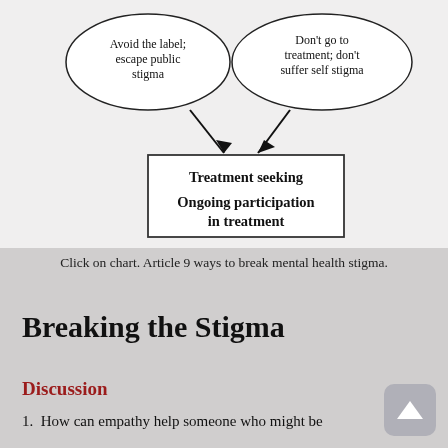[Figure (flowchart): Flowchart showing two ovals at top: 'Avoid the label; escape public stigma' and 'Don't go to treatment; don't suffer self stigma', both with arrows pointing down to a rectangle labeled 'Treatment seeking / Ongoing participation in treatment'.]
Click on chart. Article 9 ways to break mental health stigma.
Breaking the Stigma
Discussion
1.  How can empathy help someone who might be